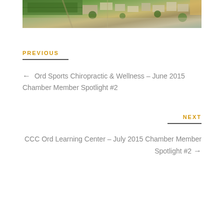[Figure (photo): Aerial photograph of a town neighborhood showing green fields, residential buildings, streets, and trees viewed from above]
PREVIOUS
← Ord Sports Chiropractic & Wellness – June 2015 Chamber Member Spotlight #2
NEXT
CCC Ord Learning Center – July 2015 Chamber Member Spotlight #2 →